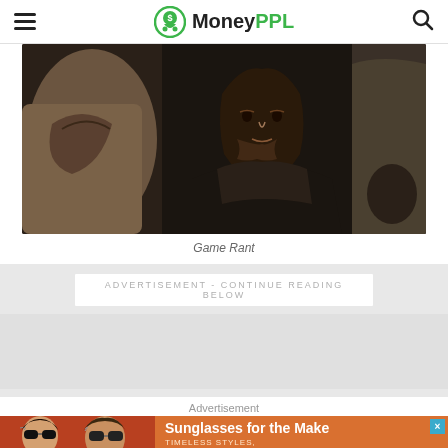MoneyPPL
[Figure (photo): A man with long dark hair and rugged appearance, wearing dark medieval-style armor/cloak, standing near a horse. Scene appears to be from a fantasy film (Lord of the Rings style).]
Game Rant
ADVERTISEMENT - CONTINUE READING BELOW
Advertisement
[Figure (photo): Advertisement banner showing two women wearing sunglasses with text 'Sunglasses for the Make', 'TIMELESS STYLES, UNMATCHED QUALITY', and a 'SHOP NOW' button]